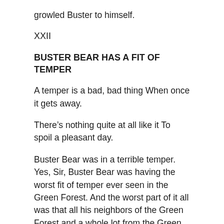growled Buster to himself.
XXII
BUSTER BEAR HAS A FIT OF TEMPER
A temper is a bad, bad thing When once it gets away.
There’s nothing quite at all like it To spoil a pleasant day.
Buster Bear was in a terrible temper. Yes, Sir, Buster Bear was having the worst fit of temper ever seen in the Green Forest. And the worst part of it all was that all his neighbors of the Green Forest and a whole lot from the Green Meadows and the Smiling